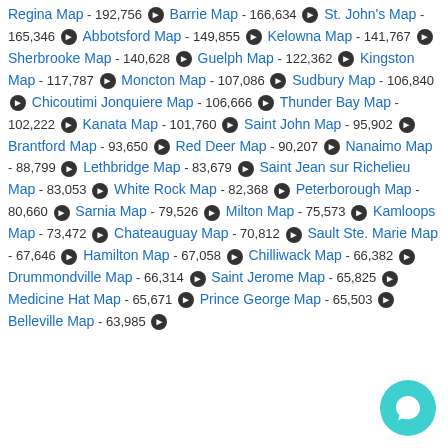Regina Map - 192,756 | Barrie Map - 166,634 | St. John's Map - 165,346 | Abbotsford Map - 149,855 | Kelowna Map - 141,767 | Sherbrooke Map - 140,628 | Guelph Map - 122,362 | Kingston Map - 117,787 | Moncton Map - 107,086 | Sudbury Map - 106,840 | Chicoutimi Jonquiere Map - 106,666 | Thunder Bay Map - 102,222 | Kanata Map - 101,760 | Saint John Map - 95,902 | Brantford Map - 93,650 | Red Deer Map - 90,207 | Nanaimo Map - 88,799 | Lethbridge Map - 83,679 | Saint Jean sur Richelieu Map - 83,053 | White Rock Map - 82,368 | Peterborough Map - 80,660 | Sarnia Map - 79,526 | Milton Map - 75,573 | Kamloops Map - 73,472 | Chateauguay Map - 70,812 | Sault Ste. Marie Map - 67,646 | Hamilton Map - 67,058 | Chilliwack Map - 66,382 | Drummondville Map - 66,314 | Saint Jerome Map - 65,825 | Medicine Hat Map - 65,671 | Prince George Map - 65,503 | Belleville Map - 63,985